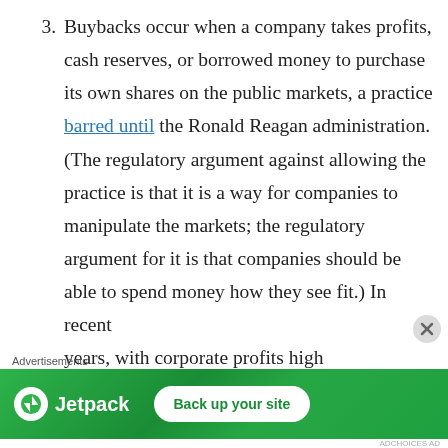3. Buybacks occur when a company takes profits, cash reserves, or borrowed money to purchase its own shares on the public markets, a practice barred until the Ronald Reagan administration. (The regulatory argument against allowing the practice is that it is a way for companies to manipulate the markets; the regulatory argument for it is that companies should be able to spend money how they see fit.) In recent years, with corporate profits high
[Figure (other): Jetpack advertisement banner with 'Back up your site' button]